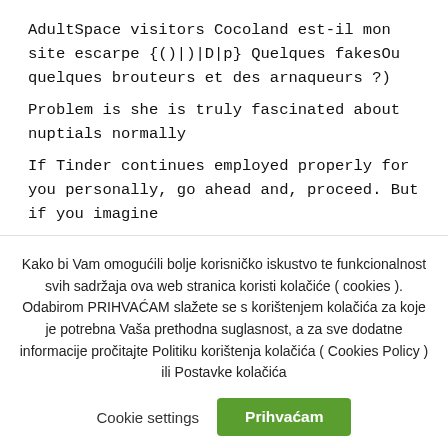AdultSpace visitors Cocoland est-il mon site escarpe {()|)|D|p} Quelques fakesOu quelques brouteurs et des arnaqueurs ?)
Problem is she is truly fascinated about nuptials normally
If Tinder continues employed properly for you personally, go ahead and, proceed. But if you imagine
Kako bi Vam omogućili bolje korisničko iskustvo te funkcionalnost svih sadržaja ova web stranica koristi kolačiće ( cookies ). Odabirom PRIHVAĆAM slažete se s korištenjem kolačića za koje je potrebna Vaša prethodna suglasnost, a za sve dodatne informacije pročitajte Politiku korištenja kolačića ( Cookies Policy ) ili Postavke kolačića
Cookie settings
Prihvaćam